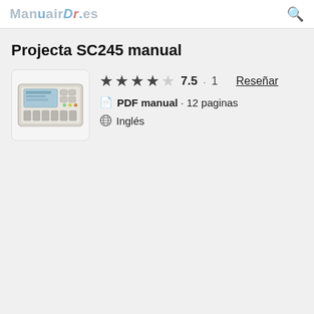ManuairDi.es
Projecta SC245 manual
★★★★☆ 7.5 · 1 Reseñar
PDF manual · 12 paginas
Inglés
[Figure (photo): Photo of the Projecta SC245 device, a white/beige electronic controller with a blue LCD display and several buttons/connectors on the front panel.]